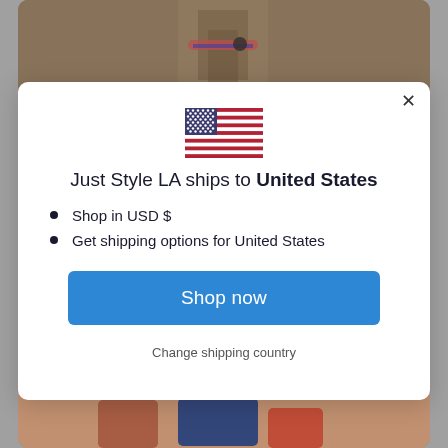[Figure (screenshot): Background showing a person wearing a tan/camel coat with a colorful belt, with gray overlay outside the modal]
[Figure (illustration): US flag emoji/icon centered at top of modal]
Just Style LA ships to United States
Shop in USD $
Get shipping options for United States
Shop now
Change shipping country